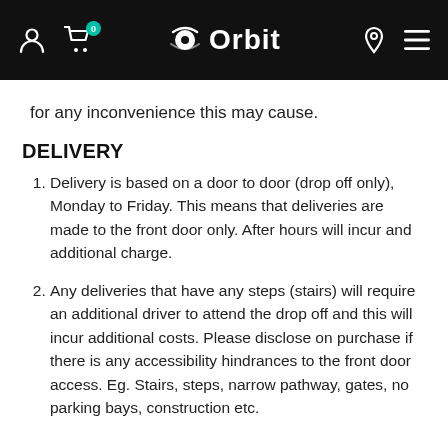Orbit — navigation header with user, cart (0), location, and menu icons
for any inconvenience this may cause.
DELIVERY
Delivery is based on a door to door (drop off only), Monday to Friday. This means that deliveries are made to the front door only. After hours will incur and additional charge.
Any deliveries that have any steps (stairs) will require an additional driver to attend the drop off and this will incur additional costs. Please disclose on purchase if there is any accessibility hindrances to the front door access. Eg. Stairs, steps, narrow pathway, gates, no parking bays, construction etc.